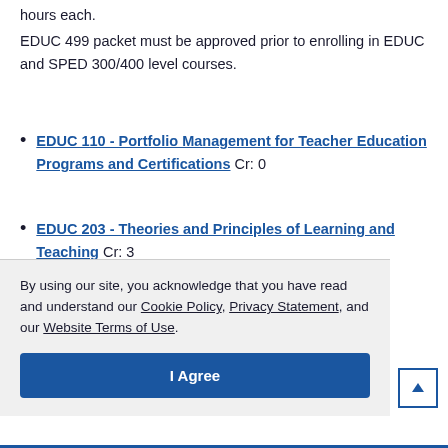hours each.
EDUC 499 packet must be approved prior to enrolling in EDUC and SPED 300/400 level courses.
EDUC 110 - Portfolio Management for Teacher Education Programs and Certifications Cr: 0
EDUC 203 - Theories and Principles of Learning and Teaching Cr: 3
EDUC 340 - Orientation to Multicultural Education Program Cr: 0
By using our site, you acknowledge that you have read and understand our Cookie Policy, Privacy Statement, and our Website Terms of Use.
I Agree